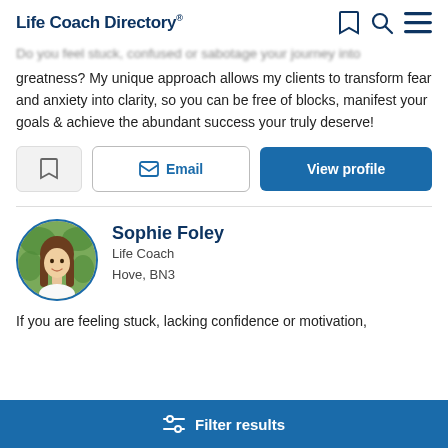Life Coach Directory®
Do you feel stuck, confused or sabotage your journey into greatness? My unique approach allows my clients to transform fear and anxiety into clarity, so you can be free of blocks, manifest your goals & achieve the abundant success your truly deserve!
Sophie Foley
Life Coach
Hove, BN3
If you are feeling stuck, lacking confidence or motivation,
Filter results